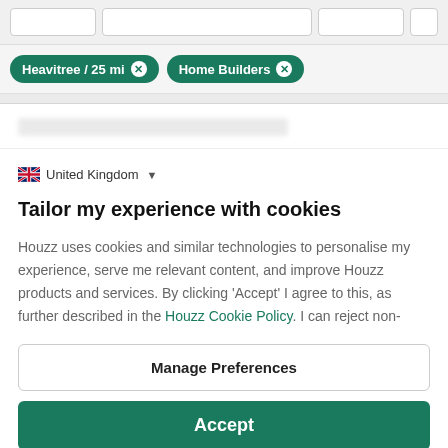[Figure (screenshot): Top search/filter bar with two pill-shaped green filter chips: 'Heavitree / 25 mi' and 'Home Builders', each with an X button]
Heavitree / 25 mi
Home Builders
United Kingdom
Tailor my experience with cookies
Houzz uses cookies and similar technologies to personalise my experience, serve me relevant content, and improve Houzz products and services. By clicking 'Accept' I agree to this, as further described in the Houzz Cookie Policy. I can reject non-
Manage Preferences
Accept